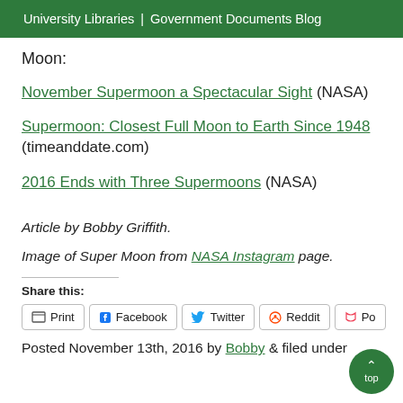University Libraries | Government Documents Blog
Moon:
November Supermoon a Spectacular Sight (NASA)
Supermoon: Closest Full Moon to Earth Since 1948 (timeanddate.com)
2016 Ends with Three Supermoons (NASA)
Article by Bobby Griffith.
Image of Super Moon from NASA Instagram page.
Share this:
Print  Facebook  Twitter  Reddit  Po...
Posted November 13th, 2016 by Bobby & filed under